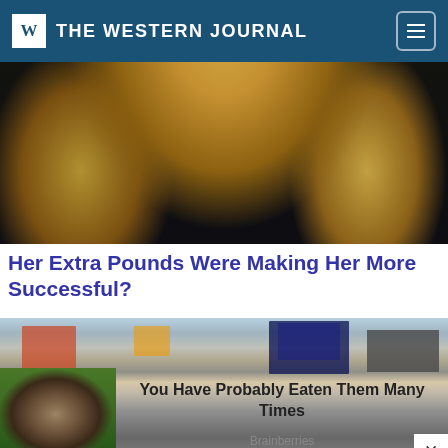THE WESTERN JOURNAL
[Figure (photo): Close-up photo of a woman with long blonde hair against a dark background]
Her Extra Pounds Were Making Her More Successful?
[Figure (photo): Busy city street crossing in Japan (Shibuya-style) with crowds of pedestrians and neon signs]
[Figure (photo): Close-up macro photo of a tardigrade (water bear) on green moss]
You Have Probably Eaten Them Many Times
Brainberries